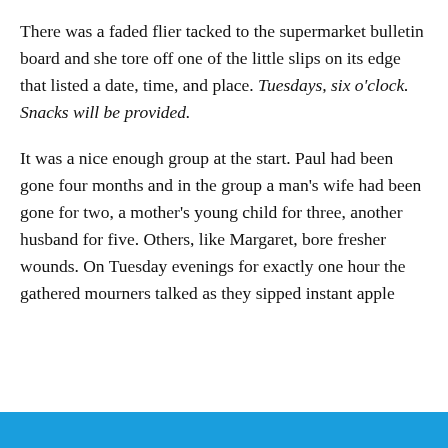There was a faded flier tacked to the supermarket bulletin board and she tore off one of the little slips on its edge that listed a date, time, and place. Tuesdays, six o'clock. Snacks will be provided.
It was a nice enough group at the start. Paul had been gone four months and in the group a man's wife had been gone for two, a mother's young child for three, another husband for five. Others, like Margaret, bore fresher wounds. On Tuesday evenings for exactly one hour the gathered mourners talked as they sipped instant apple
Privacy & Cookies: This site uses cookies. By continuing to use this website, you agree to their use.
To find out more, including how to control cookies, see here: Cookie Policy
Close and accept